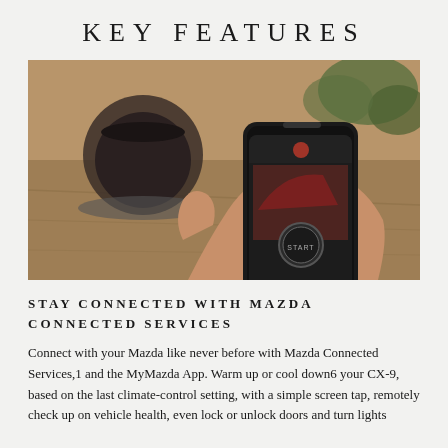KEY FEATURES
[Figure (photo): A hand holding a smartphone displaying the MyMazda app with a START button on screen, with a coffee cup and plants in the background on a wooden table.]
STAY CONNECTED WITH MAZDA CONNECTED SERVICES
Connect with your Mazda like never before with Mazda Connected Services,1 and the MyMazda App. Warm up or cool down6 your CX-9, based on the last climate-control setting, with a simple screen tap, remotely check up on vehicle health, even lock or unlock doors and turn lights off from anywhere, and so much more. All these amazing